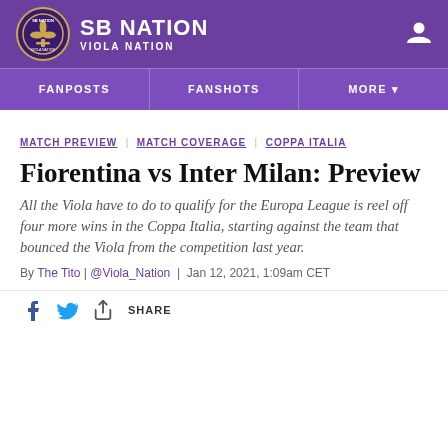SB NATION VIOLA NATION
FANPOSTS
FANSHOTS
MORE
MATCH PREVIEW  MATCH COVERAGE  COPPA ITALIA
Fiorentina vs Inter Milan: Preview
All the Viola have to do to qualify for the Europa League is reel off four more wins in the Coppa Italia, starting against the team that bounced the Viola from the competition last year.
By The Tito | @Viola_Nation | Jan 12, 2021, 1:09am CET
SHARE